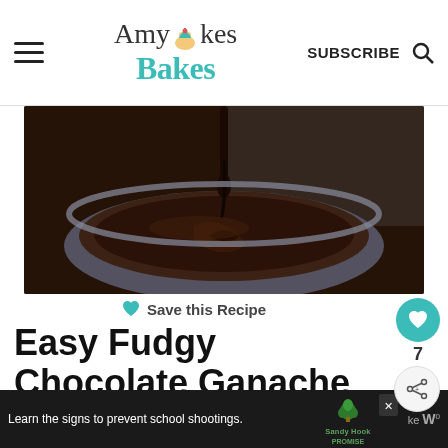AmycakesBakes | SUBSCRIBE
[Figure (photo): Chocolate ganache being poured into a rustic bowl, dark chocolate sauce swirling]
♥ Save this Recipe
Easy Fudgy Chocolate Ganache
WHAT'S NEXT → The Ultimate Fresh...
★★★★★ 5 from 4 votes
Learn the signs to prevent school shootings. Sandy Hook Promise